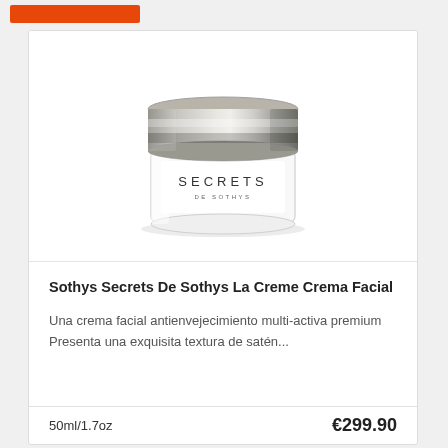[Figure (photo): Orange/red rectangular button at top of page]
[Figure (photo): Sothys Secrets De Sothys La Creme facial cream jar with silver lid and white body, label reading SECRETS DE SOTHYS]
Sothys Secrets De Sothys La Creme Crema Facial
Una crema facial antienvejecimiento multi-activa premium Presenta una exquisita textura de satén...
50ml/1.7oz
€299.90